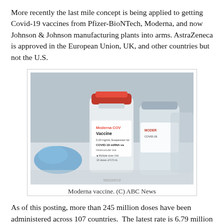More recently the last mile concept is being applied to getting Covid-19 vaccines from Pfizer-BioNTech, Moderna, and now Johnson & Johnson manufacturing plants into arms. AstraZeneca is approved in the European Union, UK, and other countries but not the U.S.
[Figure (photo): Photo of Moderna COVID-19 vaccine vials on a surface, with a blue object visible on the left and another vial partially visible on the right.]
Moderna vaccine. (C) ABC News
As of this posting, more than 245 million doses have been administered across 107 countries.  The latest rate is 6.79 million doses per day. In the U.S. more Americans have now received at least one dose than having tested positive for the virus since the pandemic began.  According to the Bloomberg Tracking site, 76.9 million doses have been given.  In the last week, an average of